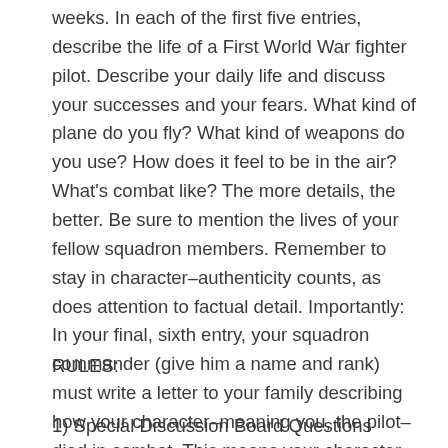weeks. In each of the first five entries, describe the life of a First World War fighter pilot. Describe your daily life and discuss your successes and your fears. What kind of plane do you fly? What kind of weapons do you use? How does it feel to be in the air? What's combat like? The more details, the better. Be sure to mention the lives of your fellow squadron members. Remember to stay in character–authenticity counts, as does attention to factual detail. Importantly: In your final, sixth entry, your squadron commander (give him a name and rank) must write a letter to your family describing how your character–meaning you, the pilot–died in combat. This means your character must die in order for you to get any credit at all for this assignment.
RULES:
1) Special Discussion Board Questions should be answered in